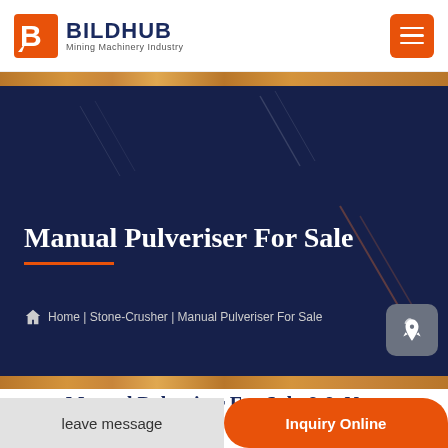BILDHUB Mining Machinery Industry
[Figure (screenshot): Website hero banner with dark navy background showing diagonal decorative lines, title 'Manual Pulveriser For Sale' with orange underline, breadcrumb navigation showing Home | Stone-Crusher | Manual Pulveriser For Sale]
Manual Pulveriser For Sale
Home | Stone-Crusher | Manual Pulveriser For Sale
Manual Pulveriser For Sale && New
leave message
Inquiry Online